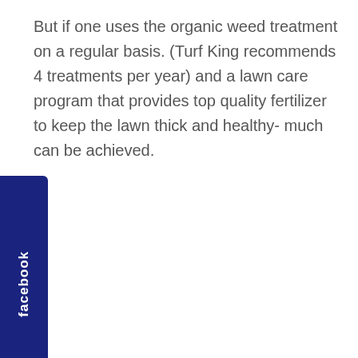But if one uses the organic weed treatment on a regular basis. (Turf King recommends 4 treatments per year) and a lawn care program that provides top quality fertilizer to keep the lawn thick and healthy- much can be achieved.
[Figure (other): Facebook social media tab/button on the left side of the page, dark navy blue rectangle with 'facebook' text written vertically in white bold font]